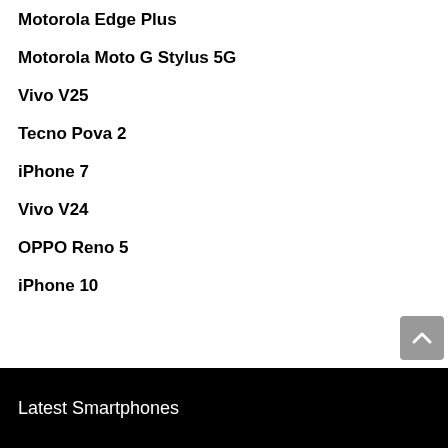Motorola Edge Plus
Motorola Moto G Stylus 5G
Vivo V25
Tecno Pova 2
iPhone 7
Vivo V24
OPPO Reno 5
iPhone 10
Latest Smartphones